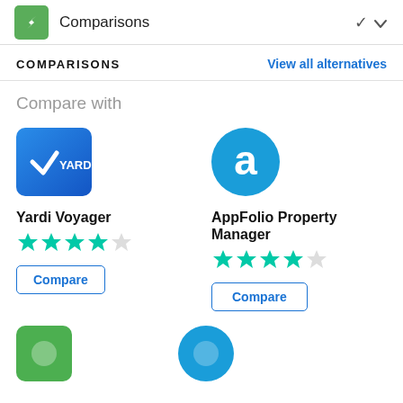Comparisons
COMPARISONS
View all alternatives
Compare with
[Figure (logo): Yardi Voyager logo - blue square with Yardi checkmark and text]
Yardi Voyager
[Figure (other): 4 out of 5 star rating in teal/green stars]
Compare
[Figure (logo): AppFolio Property Manager logo - blue circle with white 'a']
AppFolio Property Manager
[Figure (other): 4 out of 5 star rating in teal/green stars]
Compare